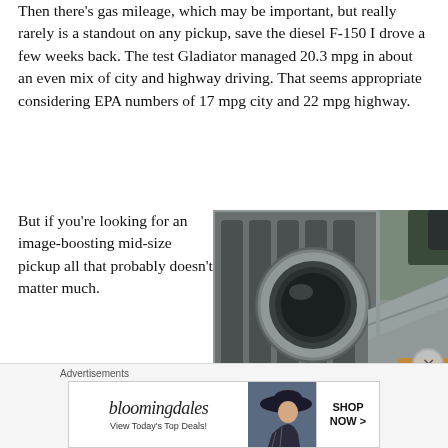Then there's gas mileage, which may be important, but really rarely is a standout on any pickup, save the diesel F-150 I drove a few weeks back. The test Gladiator managed 20.3 mpg in about an even mix of city and highway driving. That seems appropriate considering EPA numbers of 17 mpg city and 22 mpg highway.
But if you're looking for an image-boosting mid-size pickup all that probably doesn't matter much.
[Figure (photo): Close-up photo of the front grille and headlight area of a Jeep Gladiator in silver/gray color, showing the distinctive round headlight and vertical grille slats]
Advertisements
[Figure (other): Bloomingdale's advertisement banner showing the Bloomingdale's logo with 'View Today's Top Deals!' text, a woman in a wide-brim hat, and a 'SHOP NOW >' button]